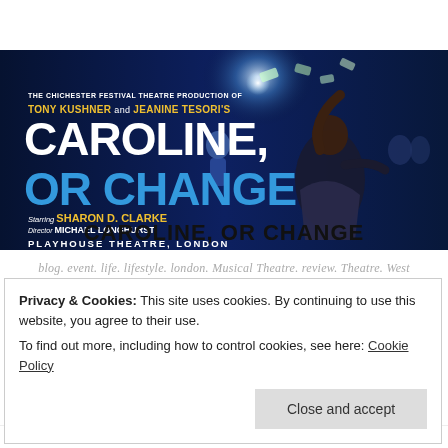[Figure (photo): Theatre promotional banner for 'Caroline, or Change' at Playhouse Theatre, London. Dark blue background with dramatic lighting. Text reads: 'The Chichester Festival Theatre Production of Tony Kushner and Jeanine Tesori's CAROLINE, OR CHANGE starring Sharon D. Clarke, Director Michael Longhurst, Playhouse Theatre, London'. Features images of actors on stage.]
CAROLINE, OR CHANGE
blog. event. life. lifestyle. london. Musical Theatre. review. Theatre. West
Privacy & Cookies: This site uses cookies. By continuing to use this website, you agree to their use.
To find out more, including how to control cookies, see here: Cookie Policy
Close and accept